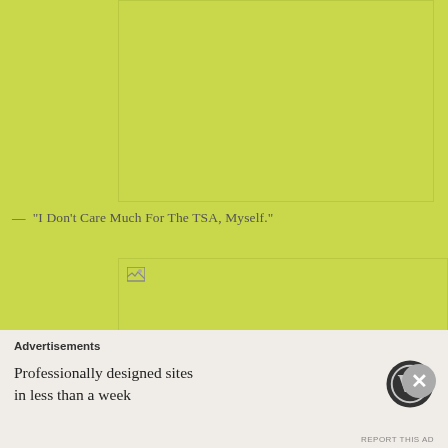[Figure (photo): Image placeholder (broken/loading image) with yellow-green background, top right area of page]
— "I Don't Care Much For The TSA, Myself."
[Figure (photo): Second image placeholder (broken/loading image) with yellow-green background and small image icon in top-left corner]
Advertisements
Professionally designed sites in less than a week